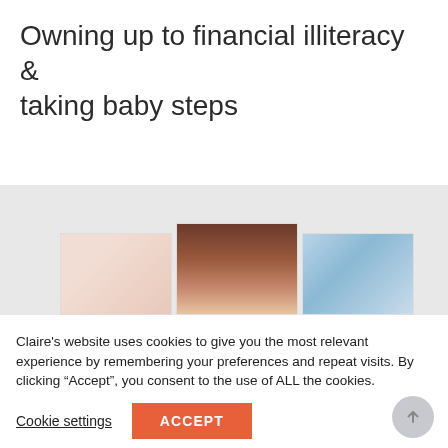Owning up to financial illiteracy & taking baby steps
[Figure (photo): A row of three partially visible images: a light pink/peach image on the left, a close-up of a person with dark hair in the center, and a blue textured image on the right, displayed on a light gray background.]
Claire's website uses cookies to give you the most relevant experience by remembering your preferences and repeat visits. By clicking “Accept”, you consent to the use of ALL the cookies.
Cookie settings
ACCEPT